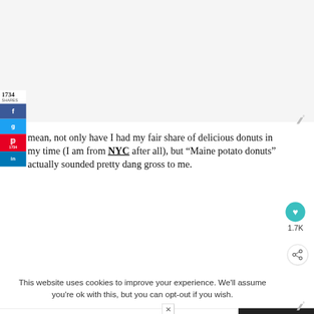[Figure (screenshot): Top gray advertisement/placeholder area]
1734
SHARES
[Figure (infographic): Social sharing sidebar with Facebook, Twitter, Pinterest (1734), LinkedIn buttons]
mean, not only have I had my fair share of delicious donuts in my time (I am from NYC after all), but "Maine potato donuts" actually sounded pretty dang gross to me.
[Figure (infographic): Wunderkind logo top right corner]
[Figure (infographic): Heart/like button showing 1.7K and share button]
This website uses cookies to improve your experience. We'll assume you're ok with this, but you can opt-out if you wish.
[Figure (infographic): Advertisement bar: 'You can help hungry kids.' No Kid Hungry logo with Learn How button, and Wunderkind logo]